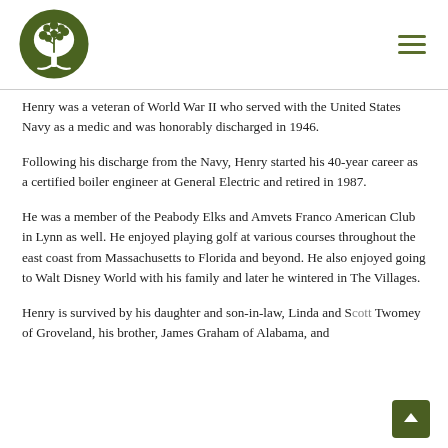Logo and navigation header with tree emblem
Henry was a veteran of World War II who served with the United States Navy as a medic and was honorably discharged in 1946.
Following his discharge from the Navy, Henry started his 40-year career as a certified boiler engineer at General Electric and retired in 1987.
He was a member of the Peabody Elks and Amvets Franco American Club in Lynn as well. He enjoyed playing golf at various courses throughout the east coast from Massachusetts to Florida and beyond. He also enjoyed going to Walt Disney World with his family and later he wintered in The Villages.
Henry is survived by his daughter and son-in-law, Linda and Scott Twomey of Groveland, his brother, James Graham of Alabama, and